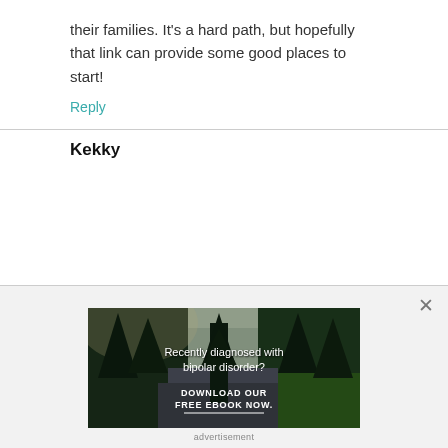their families. It's a hard path, but hopefully that link can provide some good places to start!
Reply
Kekky
[Figure (photo): Advertisement banner with forest/nature background showing text 'Recently diagnosed with bipolar disorder? DOWNLOAD OUR FREE EBOOK NOW.' with a white underline beneath the CTA text.]
advertisement